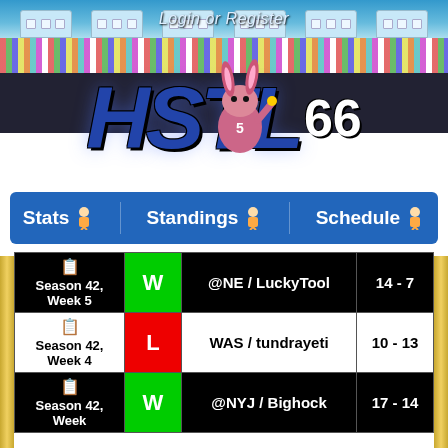[Figure (screenshot): HSTL 66 fantasy sports website header banner with stadium background, crowd, and animated logo]
Login or Register
HSTL 66
Stats | Standings | Schedule
| Week | Result | Opponent | Score |
| --- | --- | --- | --- |
| Season 42, Week 5 | W | @NE / LuckyTool | 14 - 7 |
| Season 42, Week 4 | L | WAS / tundrayeti | 10 - 13 |
| Season 42, Week 3 | W | @NYJ / Bighock | 17 - 14 |